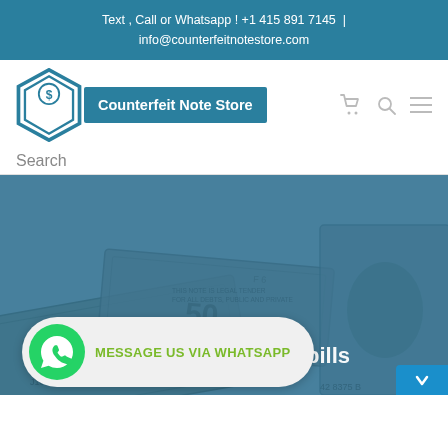Text , Call or Whatsapp ! +1 415 891 7145  |  info@counterfeitnotestore.com
[Figure (logo): Counterfeit Note Store logo: hexagonal shape with dollar coin icon and teal rectangle with white bold text 'Counterfeit Note Store']
Search
[Figure (photo): Hero background image of US dollar bills overlaid with a blue-teal tint, showing various denominations including $50 and $100 bills, serial numbers visible (e.g., 59691980D, F6, J10 23660). Text overlay reads '...dollar bills']
MESSAGE US VIA WHATSAPP